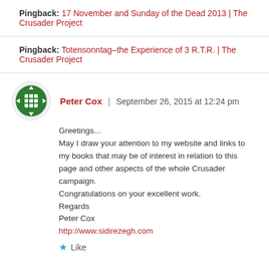Pingback: 17 November and Sunday of the Dead 2013 | The Crusader Project
Pingback: Totensonntag–the Experience of 3 R.T.R. | The Crusader Project
[Figure (logo): Circular green and white avatar logo with a grid/dice icon in the center]
Peter Cox | September 26, 2015 at 12:24 pm
Greetings...
May I draw your attention to my website and links to my books that may be of interest in relation to this page and other aspects of the whole Crusader campaign.
Congratulations on your excellent work.
Regards
Peter Cox
http://www.sidirezegh.com
Like